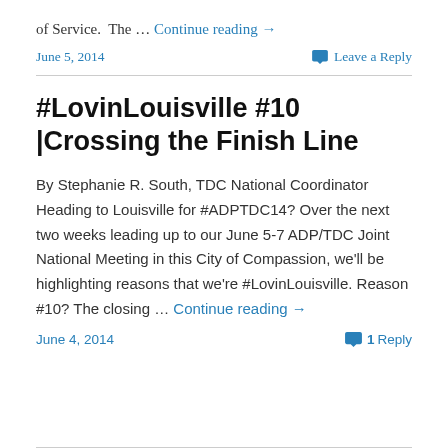of Service.  The … Continue reading →
June 5, 2014
Leave a Reply
#LovinLouisville #10 |Crossing the Finish Line
By Stephanie R. South, TDC National Coordinator Heading to Louisville for #ADPTDC14? Over the next two weeks leading up to our June 5-7 ADP/TDC Joint National Meeting in this City of Compassion, we'll be highlighting reasons that we're #LovinLouisville. Reason #10? The closing … Continue reading →
June 4, 2014
1 Reply